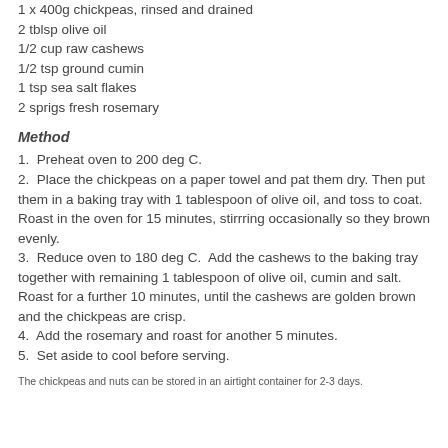1 x 400g chickpeas, rinsed and drained
2 tblsp olive oil
1/2 cup raw cashews
1/2 tsp ground cumin
1 tsp sea salt flakes
2 sprigs fresh rosemary
Method
1.  Preheat oven to 200 deg C.
2.  Place the chickpeas on a paper towel and pat them dry.  Then put them in a baking tray with 1 tablespoon of olive oil, and toss to coat.  Roast in the oven for 15 minutes, stirrring occasionally so they brown evenly.
3.  Reduce oven to 180 deg C.  Add the cashews to the baking tray together with remaining 1 tablespoon of olive oil, cumin and salt.  Roast for a further 10 minutes, until the cashews are golden brown and the chickpeas are crisp.
4.  Add the rosemary and roast for another 5 minutes.
5.  Set aside to cool before serving.
The chickpeas and nuts can be stored in an airtight container for 2-3 days.